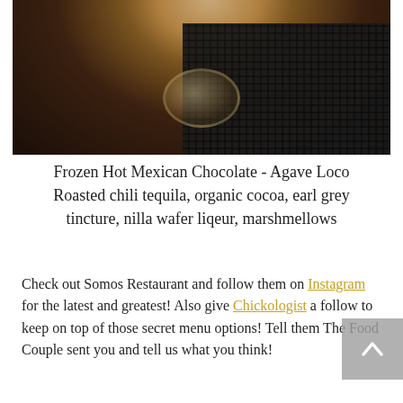[Figure (photo): A close-up photo of a cocktail glass containing a light brown frozen drink (Frozen Hot Mexican Chocolate), sitting on a dark rubber bar mat. The glass is a stemmed shot/cocktail glass with a bulbous base, set against a very dark background.]
Frozen Hot Mexican Chocolate - Agave Loco Roasted chili tequila, organic cocoa, earl grey tincture, nilla wafer liqeur, marshmellows
Check out Somos Restaurant and follow them on Instagram for the latest and greatest! Also give Chickologist a follow to keep on top of those secret menu options! Tell them The Food Couple sent you and tell us what you think!